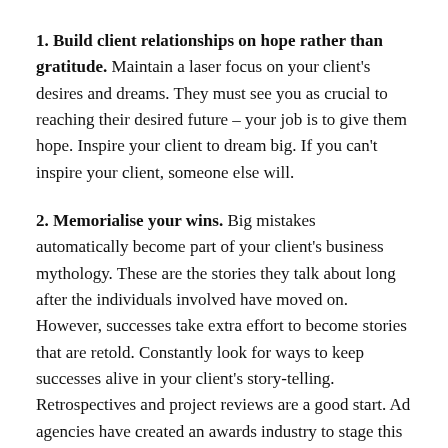1. Build client relationships on hope rather than gratitude. Maintain a laser focus on your client's desires and dreams. They must see you as crucial to reaching their desired future – your job is to give them hope. Inspire your client to dream big. If you can't inspire your client, someone else will.
2. Memorialise your wins. Big mistakes automatically become part of your client's business mythology. These are the stories they talk about long after the individuals involved have moved on. However, successes take extra effort to become stories that are retold. Constantly look for ways to keep successes alive in your client's story-telling. Retrospectives and project reviews are a good start. Ad agencies have created an awards industry to stage this for maximum effect. The main job of those trophies in reception are to remind existing clients of their shared success with the agency. This must start